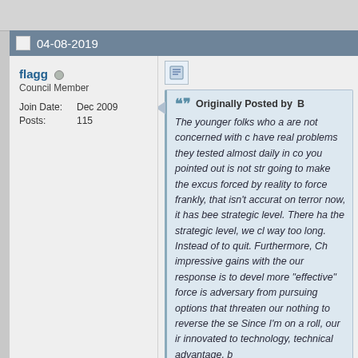04-08-2019
flagg  Council Member  Join Date: Dec 2009  Posts: 115
Originally Posted by B
The younger folks who a are not concerned with c have real problems they tested almost daily in co you pointed out is not str going to make the excus forced by reality to force frankly, that isn't accurat on terror now, it has bee strategic level. There ha the strategic level, we cl way too long. Instead of to quit. Furthermore, Ch impressive gains with the our response is to devel more "effective" force is adversary from pursuing options that threaten our nothing to reverse the se Since I'm on a roll, our ir innovated to technology, technical advantage, b